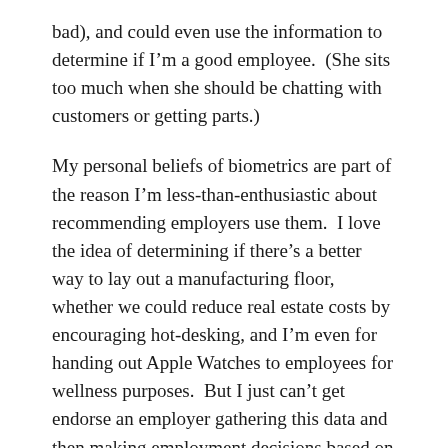bad), and could even use the information to determine if I'm a good employee.  (She sits too much when she should be chatting with customers or getting parts.)
My personal beliefs of biometrics are part of the reason I'm less-than-enthusiastic about recommending employers use them.  I love the idea of determining if there's a better way to lay out a manufacturing floor, whether we could reduce real estate costs by encouraging hot-desking, and I'm even for handing out Apple Watches to employees for wellness purposes.  But I just can't get endorse an employer gathering this data and then making employment decisions based on the data.
My biggest concerns surround privacy and the potential for misuse of personal health information.  Employers don't get